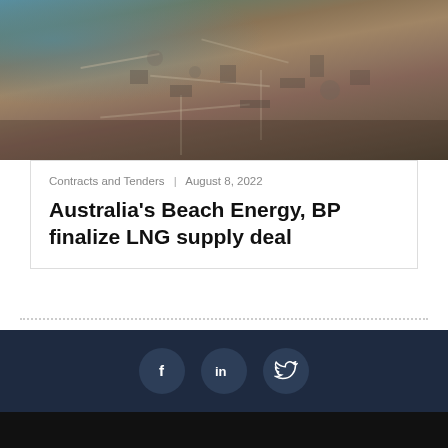[Figure (photo): Aerial view of an industrial LNG facility with brown/orange terrain, industrial structures, roads, and coastal blue water visible at top left]
Contracts and Tenders | August 8, 2022
Australia's Beach Energy, BP finalize LNG supply deal
[Figure (other): Social media icons: Facebook (f), LinkedIn (in), Twitter (bird) on dark navy background]
About Us   Advertise   Privacy Policy   Terms and Conditions   Contact Us
© LNGPrime.com